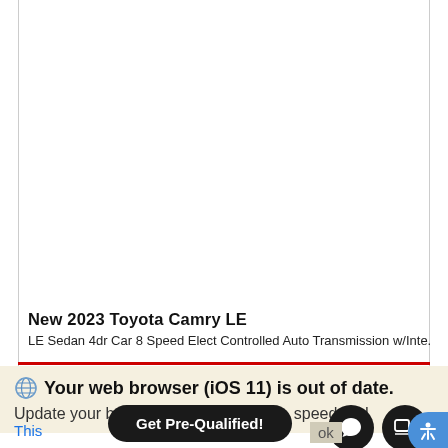[Figure (screenshot): White content area showing a car listing page, mostly blank/white space above the car title]
New 2023 Toyota Camry LE
LE Sedan 4dr Car 8 Speed Elect Controlled Auto Transmission w/Inte.
Your web browser (iOS 11) is out of date. Update your browser for more security, speed and
Get Pre-Qualified!
This
ok